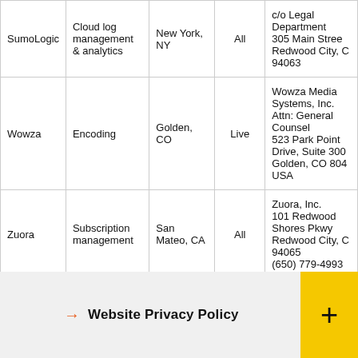| Vendor | Service | Location | Scope | Address |
| --- | --- | --- | --- | --- |
| SumoLogic | Cloud log management & analytics | New York, NY | All | c/o Legal Department 305 Main Street Redwood City, CA 94063 |
| Wowza | Encoding | Golden, CO | Live | Wowza Media Systems, Inc. Attn: General Counsel 523 Park Point Drive, Suite 300 Golden, CO 804 USA |
| Zuora | Subscription management | San Mateo, CA | All | Zuora, Inc. 101 Redwood Shores Pkwy Redwood City, CA 94065 (650) 779-4993 |
→ Website Privacy Policy